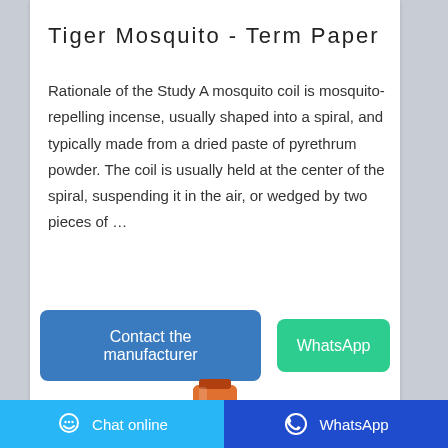Tiger Mosquito - Term Paper
Rationale of the Study A mosquito coil is mosquito-repelling incense, usually shaped into a spiral, and typically made from a dried paste of pyrethrum powder. The coil is usually held at the center of the spiral, suspending it in the air, or wedged by two pieces of …
[Figure (screenshot): Two buttons: 'Contact the manufacturer' (blue) and 'WhatsApp' (green)]
[Figure (photo): Product photo showing a cylindrical orange/brown jar or container]
Chat online   WhatsApp